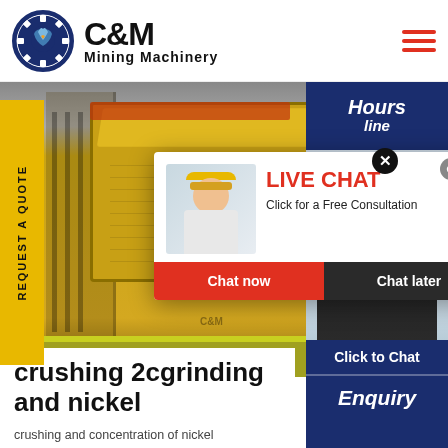C&M Mining Machinery
[Figure (screenshot): C&M Mining Machinery website screenshot showing yellow heavy industrial crushing/screening equipment in a factory, with a live chat popup overlay featuring a smiling worker in hard hat, Chat now and Chat later buttons, and a customer service agent photo on the right side]
REQUEST A QUOTE
LIVE CHAT
Click for a Free Consultation
Chat now
Chat later
Hours
line
Click to Chat
Enquiry
crushing 2cgrinding and nickel
crushing and concentration of nickel